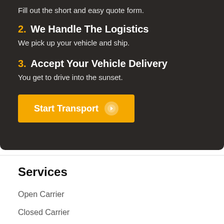Fill out the short and easy quote form.
2. We Handle The Logistics
We pick up your vehicle and ship.
3. Accept Your Vehicle Delivery
You get to drive into the sunset.
Start Transport →
Services
Open Carrier
Closed Carrier
Classic Cars